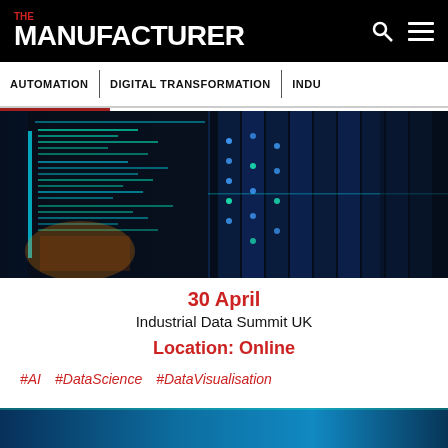THE MANUFACTURER
AUTOMATION | DIGITAL TRANSFORMATION | INDU
[Figure (photo): Data center server racks with blue and cyan glowing lights and code overlay, dark background]
30 April
Industrial Data Summit UK
Location: Online
#AI   #DataScience   #DataVisualisation
[Figure (photo): Partial bottom image strip, appears to be a blue-toned industrial or technology scene]